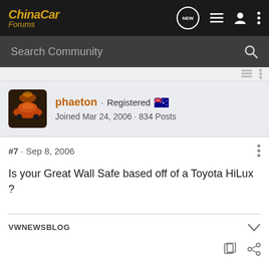[Figure (screenshot): ChinaCar Forums navigation bar with logo, NEW chat icon, list icon, user icon, and vertical dots menu]
[Figure (screenshot): Search Community input bar with magnifying glass icon]
[Figure (photo): User avatar for phaeton showing a red car]
phaeton · Registered 🇦🇺
Joined Mar 24, 2006 · 834 Posts
#7 · Sep 8, 2006
Is your Great Wall Safe based off of a Toyota HiLux ?
VWNEWSBLOG